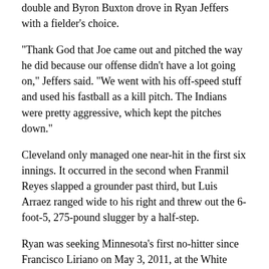double and Byron Buxton drove in Ryan Jeffers with a fielder's choice.
"Thank God that Joe came out and pitched the way he did because our offense didn't have a lot going on," Jeffers said. "We went with his off-speed stuff and used his fastball as a kill pitch. The Indians were pretty aggressive, which kept the pitches down."
Cleveland only managed one near-hit in the first six innings. It occurred in the second when Franmil Reyes slapped a grounder past third, but Luis Arraez ranged wide to his right and threw out the 6-foot-5, 275-pound slugger by a half-step.
Ryan was seeking Minnesota's first no-hitter since Francisco Liriano on May 3, 2011, at the White Sox. Cleveland was no-hit on the road by Carlos Rodon of the White Sox on April 14 and at home by Cincinnati's Wade Miley on May 7.
"Joe believes in himself and his stuff works in the big leagues," Twins acting manager Bill Evers said. "His command was excellent and the game plan worked perfectly."
Minnesota opened the scoring in the fifth. Rob Refsnyder walked with two outs, stole second and scored on Gordon's double to right off Triston McKenzie.